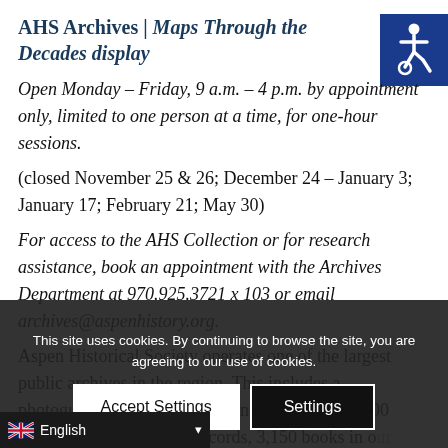AHS Archives | Maps Through the Decades display
Open Monday – Friday, 9 a.m. – 4 p.m. by appointment only, limited to one person at a time, for one-hour sessions.
(closed November 25 & 26; December 24 – January 3; January 17; February 21; May 30)
For access to the AHS Collection or for research assistance, book an appointment with the Archives Department at 970.925.3721 x 103 or email archives@aspenhistory.org.
Aspen Historical Society operates one of the largest public archives in the region. This includes a photographic collection featuring more than 50,000 images, 12,400 archival records, 3,150 books in our regional library, and more than 7,600 books in our general library. Research assistance is available
[Figure (illustration): Accessibility icon (wheelchair symbol in white on dark blue background)]
This site uses cookies. By continuing to browse the site, you are agreeing to our use of cookies.